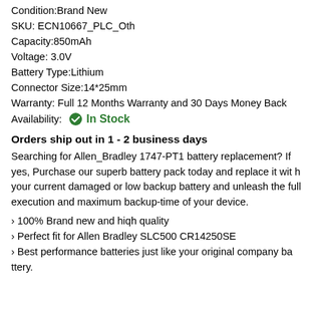Condition:Brand New
SKU: ECN10667_PLC_Oth
Capacity:850mAh
Voltage: 3.0V
Battery Type:Lithium
Connector Size:14*25mm
Warranty: Full 12 Months Warranty and 30 Days Money Back
Availability: In Stock
Orders ship out in 1 - 2 business days
Searching for Allen_Bradley 1747-PT1 battery replacement? If yes, Purchase our superb battery pack today and replace it with your current damaged or low backup battery and unleash the full execution and maximum backup-time of your device.
> 100% Brand new and high quality
> Perfect fit for Allen Bradley SLC500 CR14250SE
> Best performance batteries just like your original company battery.